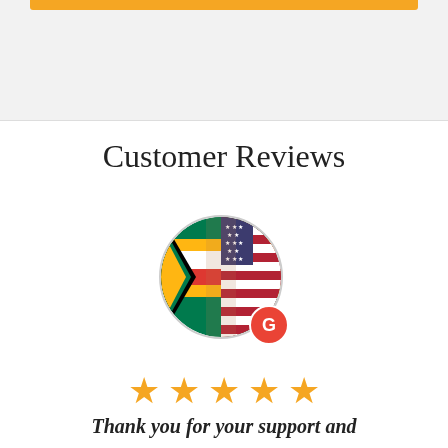Customer Reviews
[Figure (illustration): Circular avatar showing South African and American flags blended together, with a red Google 'G' badge in the bottom right corner]
★★★★★
Thank you for your support and